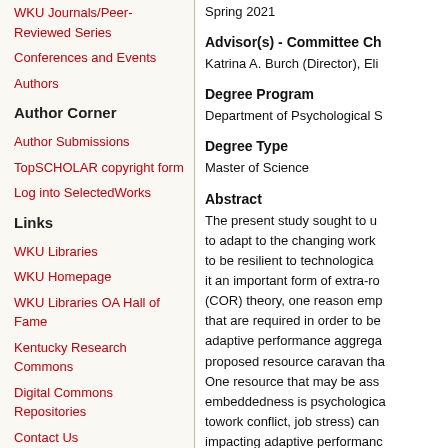WKU Journals/Peer-Reviewed Series
Conferences and Events
Authors
Author Corner
Author Submissions
TopSCHOLAR copyright form
Log into SelectedWorks
Links
WKU Libraries
WKU Homepage
WKU Libraries OA Hall of Fame
Kentucky Research Commons
Digital Commons Repositories
Contact Us
Spring 2021
Advisor(s) - Committee Ch
Katrina A. Burch (Director), Eli...
Degree Program
Department of Psychological S...
Degree Type
Master of Science
Abstract
The present study sought to un... to adapt to the changing work e... to be resilient to technological... it an important form of extra-ro... (COR) theory, one reason emp... that are required in order to be... adaptive performance aggrega... proposed resource caravan tha... One resource that may be ass... embeddedness is psychologica... towork conflict, job stress) can... impacting adaptive performanc... aforementioned resources and... individuals using ordinary leas... full mediation of job embedded... partial mediation between the...